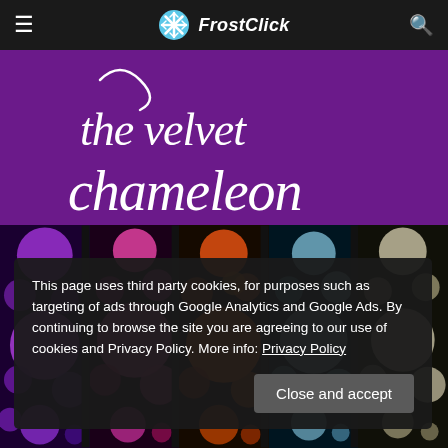FrostClick
[Figure (illustration): Purple background with script text reading 'the velvet chameleon' and colorful bubble/circle pattern panels in purple, pink, orange, light blue, and white/cream on black]
This page uses third party cookies, for purposes such as targeting of ads through Google Analytics and Google Ads. By continuing to browse the site you are agreeing to our use of cookies and Privacy Policy. More info: Privacy Policy
Close and accept